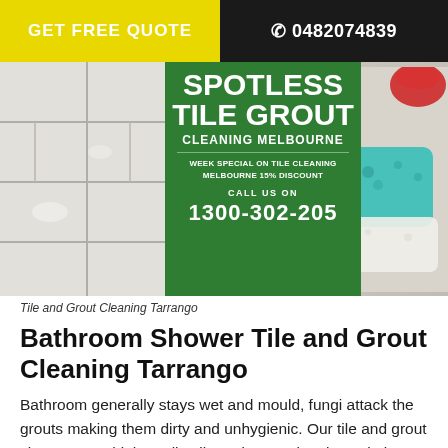GET FREE QUOTE   ☎ 0482074839
[Figure (photo): Hero banner image showing bathroom tiles and colorful sponges on the right, with a green overlay banner reading SPOTLESS TILE GROUT CLEANING MELBOURNE, WEEK SPECIAL ON TILE CLEANING MELBOURNE 15% DISCOUNT, CALL US ON 1300-302-205]
Tile and Grout Cleaning Tarrango
Bathroom Shower Tile and Grout Cleaning Tarrango
Bathroom generally stays wet and mould, fungi attack the grouts making them dirty and unhygienic. Our tile and grout cleaners use high quality tile and grout cleaning solutions, to make your grouts cleaned to the perfect and restoring your bathroom to a hygienic place.